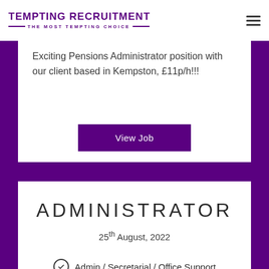TEMPTING RECRUITMENT — THE MOST TEMPTING CHOICE —
Exciting Pensions Administrator position with our client based in Kempston, £11p/h!!!
View Job
ADMINISTRATOR
25th August, 2022
Admin / Secretarial / Office Support